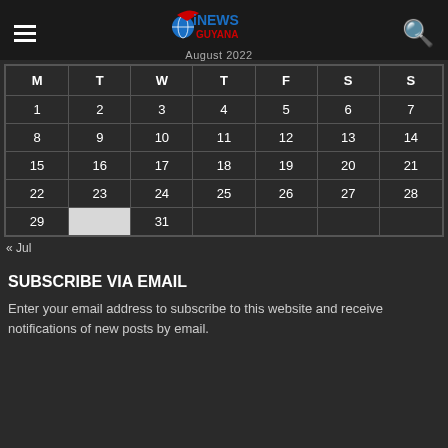iNEWS GUYANA — August 2022
| M | T | W | T | F | S | S |
| --- | --- | --- | --- | --- | --- | --- |
| 1 | 2 | 3 | 4 | 5 | 6 | 7 |
| 8 | 9 | 10 | 11 | 12 | 13 | 14 |
| 15 | 16 | 17 | 18 | 19 | 20 | 21 |
| 22 | 23 | 24 | 25 | 26 | 27 | 28 |
| 29 |  | 31 |  |  |  |  |
« Jul
SUBSCRIBE VIA EMAIL
Enter your email address to subscribe to this website and receive notifications of new posts by email.